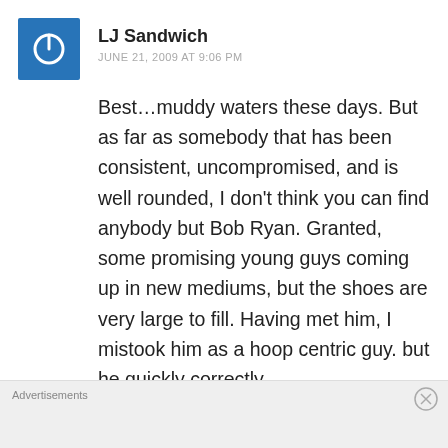[Figure (logo): Blue square avatar with white power button icon]
LJ Sandwich
JUNE 21, 2009 AT 9:06 PM
Best…muddy waters these days. But as far as somebody that has been consistent, uncompromised, and is well rounded, I don't think you can find anybody but Bob Ryan. Granted, some promising young guys coming up in new mediums, but the shoes are very large to fill. Having met him, I mistook him as a hoop centric guy. but he quickly correctly
Advertisements